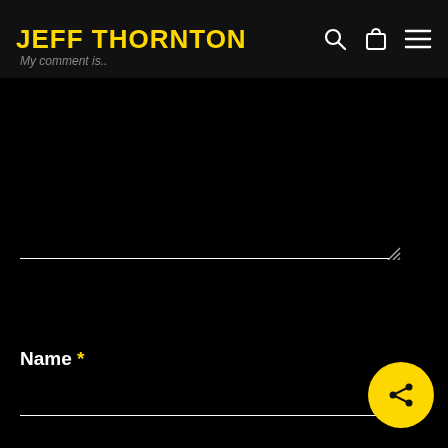JEFF THORNTON
My comment is..
Name *